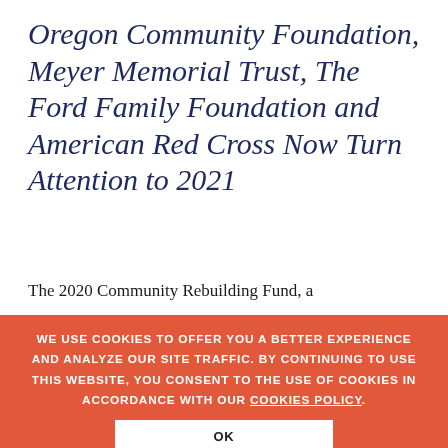Oregon Community Foundation, Meyer Memorial Trust, The Ford Family Foundation and American Red Cross Now Turn Attention to 2021
The 2020 Community Rebuilding Fund, a
WE USE COOKIES TO OFFER YOU A BETTER EXPERIENCE AND ANALYZE OUR SITE TRAFFIC. BY CONTINUING TO USE THIS WEBSITE, YOU CONSENT TO THE USE OF COOKIES IN ACCORDANCE WITH OUR COOKIES POLICY.
OK